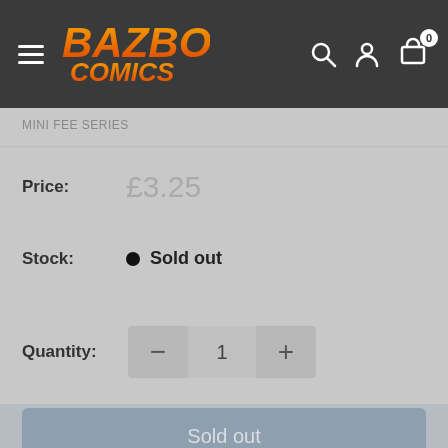Bazbo Comics — navigation bar with logo, search, account, and cart icons
MINI FEE SERIES
Price:  £3.25
Stock:  Sold out
Quantity:  −  1  +
Sold out
Use this bar to show information about your cookie policy
Accept